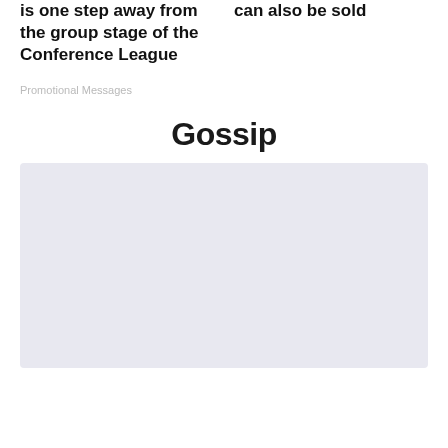is one step away from the group stage of the Conference League
can also be sold
Promotional Messages
Gossip
[Figure (other): Light lavender/blue-grey placeholder image block]